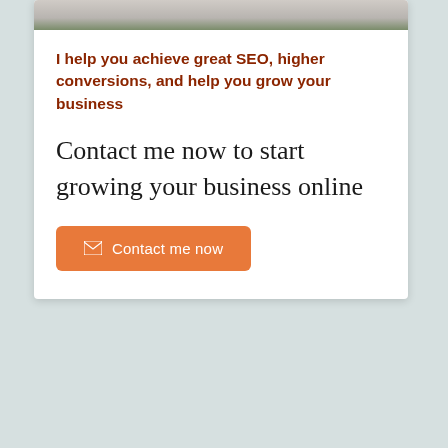[Figure (photo): Partial photo of a person in a white shirt outdoors, cropped at the top of the card]
I help you achieve great SEO, higher conversions, and help you grow your business
Contact me now to start growing your business online
Contact me now